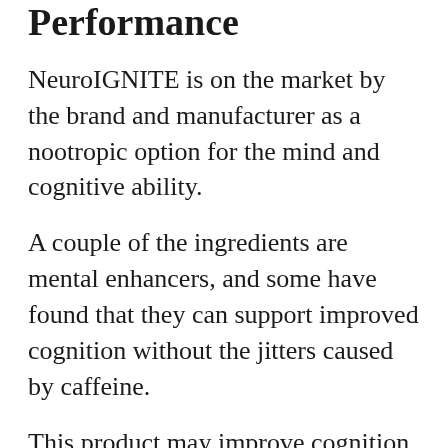Performance
NeuroIGNITE is on the market by the brand and manufacturer as a nootropic option for the mind and cognitive ability.
A couple of the ingredients are mental enhancers, and some have found that they can support improved cognition without the jitters caused by caffeine.
This product may improve cognition and clarity, and the supplementation of Bacopa monnieri as an ingredient can certainly have this type of potential for the mind.
NeuroIGNITE may support nootropic